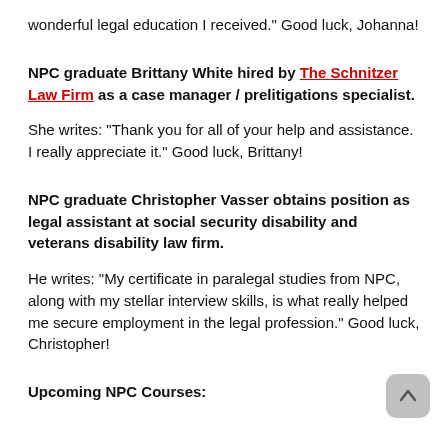wonderful legal education I received." Good luck, Johanna!
NPC graduate Brittany White hired by The Schnitzer Law Firm as a case manager / prelitigations specialist.
She writes: "Thank you for all of your help and assistance. I really appreciate it." Good luck, Brittany!
NPC graduate Christopher Vasser obtains position as legal assistant at social security disability and veterans disability law firm.
He writes: "My certificate in paralegal studies from NPC, along with my stellar interview skills, is what really helped me secure employment in the legal profession." Good luck, Christopher!
Upcoming NPC Courses: